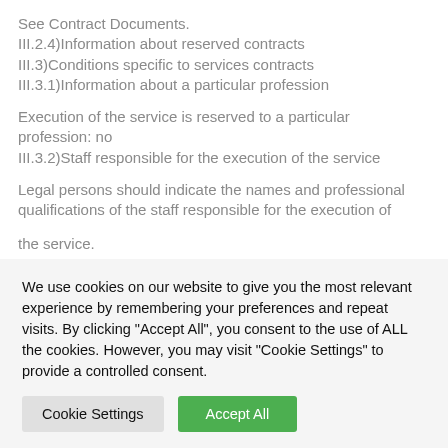See Contract Documents.
III.2.4)Information about reserved contracts
III.3)Conditions specific to services contracts
III.3.1)Information about a particular profession
Execution of the service is reserved to a particular profession: no
III.3.2)Staff responsible for the execution of the service
Legal persons should indicate the names and professional qualifications of the staff responsible for the execution of the service.
We use cookies on our website to give you the most relevant experience by remembering your preferences and repeat visits. By clicking "Accept All", you consent to the use of ALL the cookies. However, you may visit "Cookie Settings" to provide a controlled consent.